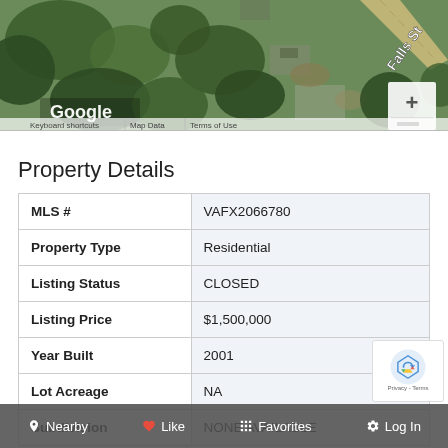[Figure (photo): Aerial/satellite map view of a property showing trees, structures, and a street labeled Falls St, with Google branding and map controls]
Property Details
|  |  |
| --- | --- |
| MLS # | VAFX2066780 |
| Property Type | Residential |
| Listing Status | CLOSED |
| Listing Price | $1,500,000 |
| Year Built | 2001 |
| Lot Acreage | NA |
| Subdivision | NONE AVAILABLE |